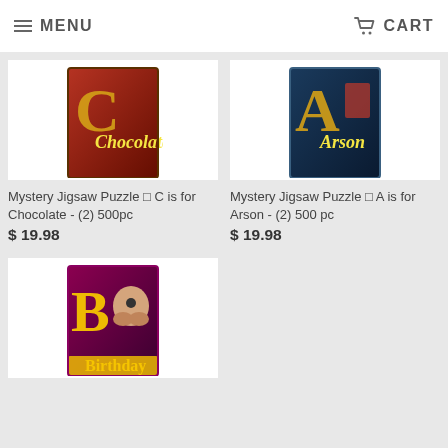MENU   CART
[Figure (photo): Mystery Jigsaw Puzzle box for C is for Chocolate - product image showing chocolate-themed puzzle box with large letter C]
Mystery Jigsaw Puzzle ▯ C is for Chocolate - (2) 500pc
$ 19.98
[Figure (photo): Mystery Jigsaw Puzzle box for A is for Arson - product image showing arson-themed puzzle box with large letter A]
Mystery Jigsaw Puzzle ▯ A is for Arson - (2) 500 pc
$ 19.98
[Figure (photo): Mystery Jigsaw Puzzle box for B is for Birthday - product image showing birthday-themed puzzle box with a dog and large letter B]